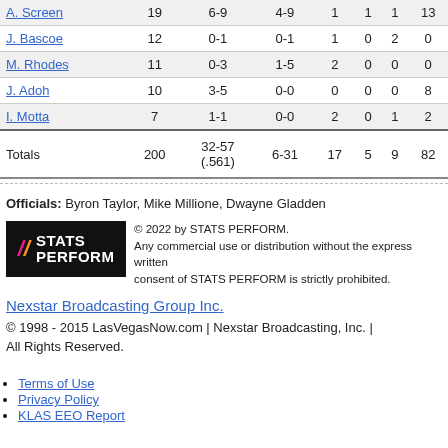| Player | Min | FG | 3P | Reb | Ast | Stl | Pts |
| --- | --- | --- | --- | --- | --- | --- | --- |
| A. Screen | 19 | 6-9 | 4-9 | 1 | 1 | 1 | 13 |
| J. Bascoe | 12 | 0-1 | 0-1 | 1 | 0 | 2 | 0 |
| M. Rhodes | 11 | 0-3 | 1-5 | 2 | 0 | 0 | 0 |
| J. Adoh | 10 | 3-5 | 0-0 | 0 | 0 | 0 | 8 |
| I. Motta | 7 | 1-1 | 0-0 | 2 | 0 | 1 | 2 |
| Totals | 200 | 32-57 (.561) | 6-31 | 17 | 5 | 9 | 82 |
Officials: Byron Taylor, Mike Millione, Dwayne Gladden
[Figure (logo): STATS PERFORM logo on black background]
© 2022 by STATS PERFORM. Any commercial use or distribution without the express written consent of STATS PERFORM is strictly prohibited.
Nexstar Broadcasting Group Inc.
© 1998 - 2015 LasVegasNow.com | Nexstar Broadcasting, Inc. | All Rights Reserved.
Terms of Use
Privacy Policy
KLAS EEO Report